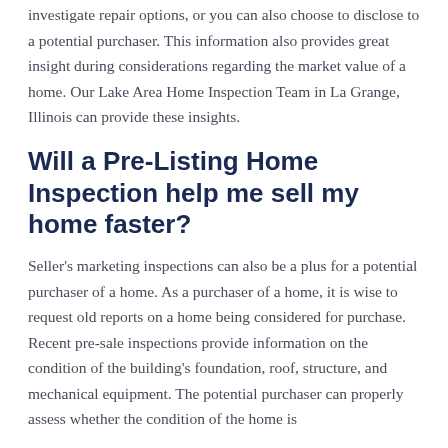investigate repair options, or you can also choose to disclose to a potential purchaser. This information also provides great insight during considerations regarding the market value of a home. Our Lake Area Home Inspection Team in La Grange, Illinois can provide these insights.
Will a Pre-Listing Home Inspection help me sell my home faster?
Seller's marketing inspections can also be a plus for a potential purchaser of a home. As a purchaser of a home, it is wise to request old reports on a home being considered for purchase. Recent pre-sale inspections provide information on the condition of the building's foundation, roof, structure, and mechanical equipment. The potential purchaser can properly assess whether the condition of the home is